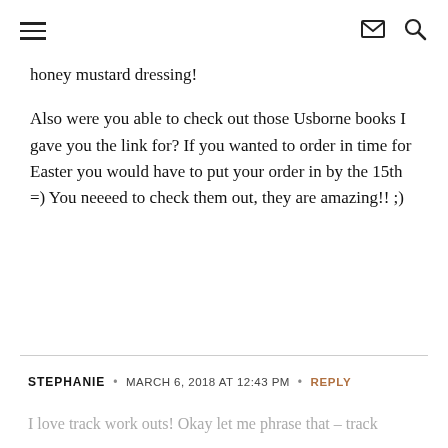≡  ✉ 🔍
honey mustard dressing!
Also were you able to check out those Usborne books I gave you the link for? If you wanted to order in time for Easter you would have to put your order in by the 15th =) You neeeed to check them out, they are amazing!! ;)
STEPHANIE • MARCH 6, 2018 AT 12:43 PM • REPLY
I love track work outs! Okay let me phrase that – track